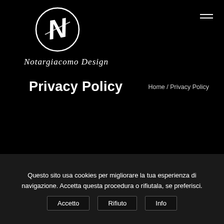[Figure (logo): Circular logo with stylized 'N' letter for Notargiacomo Design]
Notargiacomo Design
Privacy Policy
Home / Privacy Policy
This Cookie Policy explains what cookies are and how we use them. You should read this policy to
Questo sito usa cookies per migliorare la tua esperienza di navigazione. Accetta questa procedura o rifiutala, se preferisci.
Accetto | Rifiuto | Info